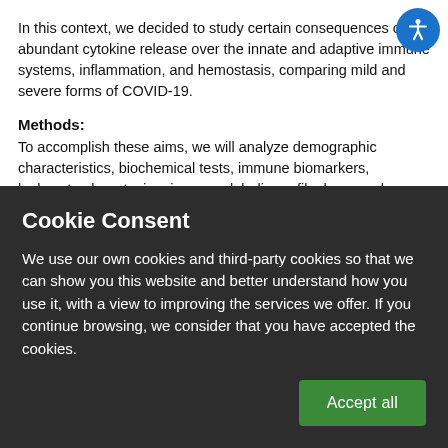In this context, we decided to study certain consequences of the abundant cytokine release over the innate and adaptive immune systems, inflammation, and hemostasis, comparing mild and severe forms of COVID-19.
Methods:
To accomplish these aims, we will analyze demographic characteristics, biochemical tests, immune biomarkers, leukocyte phenotyping, immunoglobulin profile, hormonal release (cortisol and prolactin), gene expression, thromboelastometry, neutralizing antibodies, metabolic profile, and neutrophil function (reactive
Cookie Consent

We use our own cookies and third-party cookies so that we can show you this website and better understand how you use it, with a view to improving the services we offer. If you continue browsing, we consider that you have accepted the cookies.

Accept all